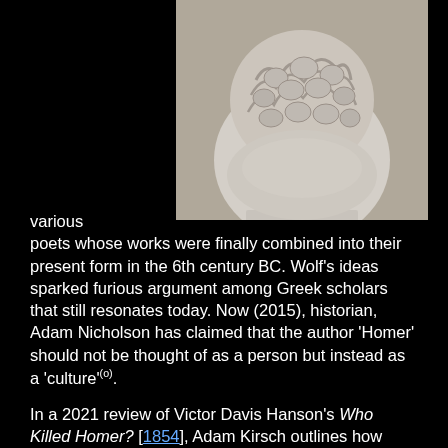[Figure (photo): A marble or stone sculpture of a head with elaborate curly/flowing carved hair detail, shown against a light grey background, cropped to show the top portion.]
various poets whose works were finally combined into their present form in the 6th century BC. Wolf's ideas sparked furious argument among Greek scholars that still resonates today. Now (2015), historian, Adam Nicholson has claimed that the author 'Homer' should not be thought of as a person but instead as a 'culture'(o).
In a 2021 review of Victor Davis Hanson's Who Killed Homer? [1854], Adam Kirsch outlines how "Milman Perry proved that the Iliad and the Odyssey were not written by a lone genius(ah). They were originally not written at all, but through fieldwork in Yugoslavia, Perry (1902-1935) demonstrated how the Homeric epics were the result of traditional bardic storytelling. Wikipedia describes Perry as "an American Classicist whose theories on the origin of